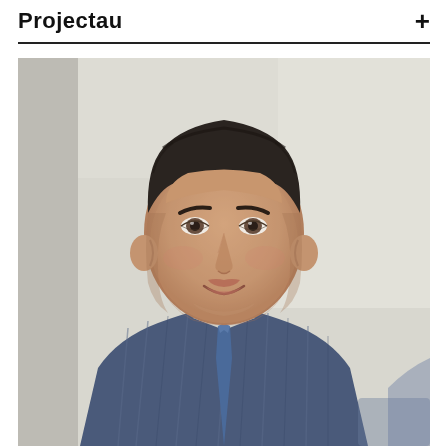Projectau +
[Figure (photo): Portrait photo of a man with dark hair, wearing a blue and white striped shirt and blue tie, seated and smiling slightly, photographed against a light-coloured background in what appears to be an office or meeting room setting.]